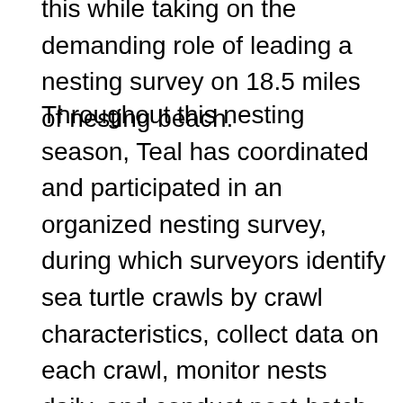this while taking on the demanding role of leading a nesting survey on 18.5 miles of nesting beach.
Throughout this nesting season, Teal has coordinated and participated in an organized nesting survey, during which surveyors identify sea turtle crawls by crawl characteristics, collect data on each crawl, monitor nests daily, and conduct post-hatch nest excavations. In conjunction with coordinating the nesting survey itself, Teal has worked tirelessly this season to communicate and work with county and municipality officials to improve permit and code compliance throughout Miami-Dade County to ensure the protection of sea turtle nests, nesting mothers, and emerging hatchlings. She is also responsible for all stranding events in Miami-Dade County, organizing a response team for each stranding event to data collect and transport live turtles to rehabilitation